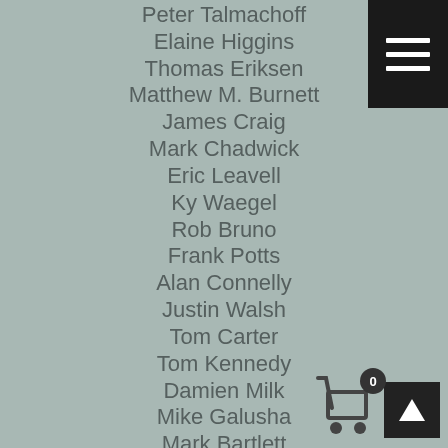Peter Talmachoff
Elaine Higgins
Thomas Eriksen
Matthew M. Burnett
James Craig
Mark Chadwick
Eric Leavell
Ky Waegel
Rob Bruno
Frank Potts
Alan Connelly
Justin Walsh
Tom Carter
Tom Kennedy
Damien Milk
Mike Galusha
Mark Bartlett
John S Dilsaver
Nathan Brown